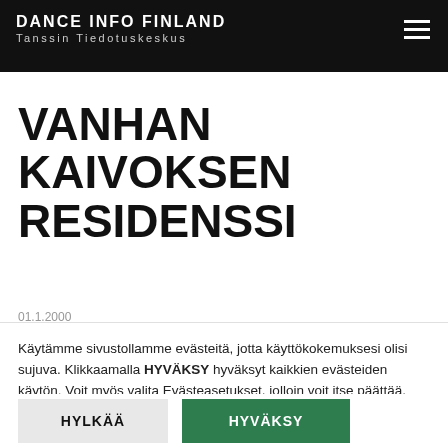DANCE INFO FINLAND Tanssin Tiedotuskeskus
VANHAN KAIVOKSEN RESIDENSSI
01.1.2000
Käytämme sivustollamme evästeitä, jotta käyttökokemuksesi olisi sujuva. Klikkaamalla HYVÄKSY hyväksyt kaikkien evästeiden käytön. Voit myös valita Evästeasetukset, jolloin voit itse päättää, mitä evästeitä kohdallasi saa käyttää.
Evästeasetukset
HYLKÄÄ
HYVÄKSY